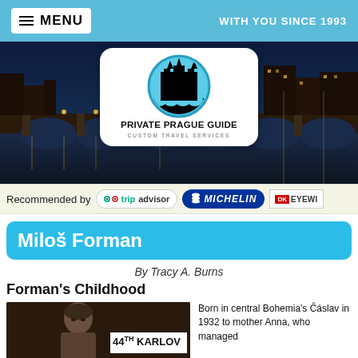MENU  |  WITH YOU SINCE 1993
[Figure (logo): Private Prague Guide logo with circular Prague skyline icon and text PRIVATE PRAGUE GUIDE / CUSTOM TRAVEL SERVICES. Recommended by TripAdvisor, Michelin, DK Eyewitness.]
Miloš Forman
By Tracy A. Burns
Forman's Childhood
[Figure (photo): Photo of Miloš Forman at the 44th Karlovy Vary International Film Festival]
Born in central Bohemia's Čáslav in 1932 to mother Anna, who managed